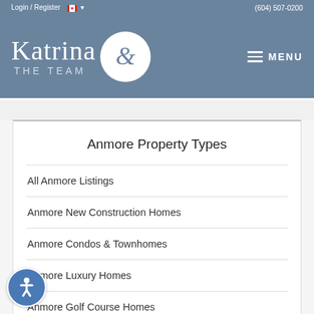Login / Register   (604) 507-0200
[Figure (logo): Katrina & The Team real estate logo with ampersand in white circle on steel blue header background with MENU button]
Anmore Property Types
All Anmore Listings
Anmore New Construction Homes
Anmore Condos & Townhomes
Anmore Luxury Homes
Anmore Golf Course Homes